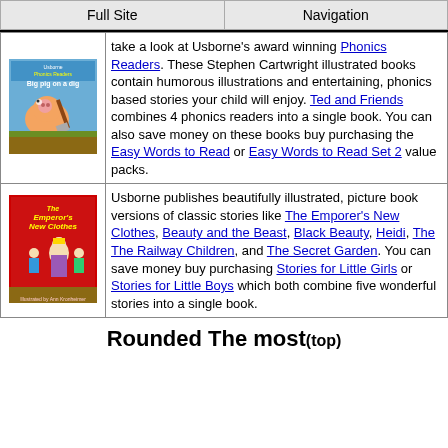Full Site | Navigation
take a look at Usborne's award winning Phonics Readers. These Stephen Cartwright illustrated books contain humorous illustrations and entertaining, phonics based stories your child will enjoy. Ted and Friends combines 4 phonics readers into a single book. You can also save money on these books buy purchasing the Easy Words to Read or Easy Words to Read Set 2 value packs.
[Figure (photo): Book cover: Usborne Phonics Readers - Big Pig on a Dig, showing a cartoon pig digging]
Usborne publishes beautifully illustrated, picture book versions of classic stories like The Emporer's New Clothes, Beauty and the Beast, Black Beauty, Heidi, The The Railway Children, and The Secret Garden. You can save money buy purchasing Stories for Little Girls or Stories for Little Boys which both combine five wonderful stories into a single book.
[Figure (photo): Book cover: The Emperor's New Clothes, red background with illustrated characters]
Rounded The most(top)